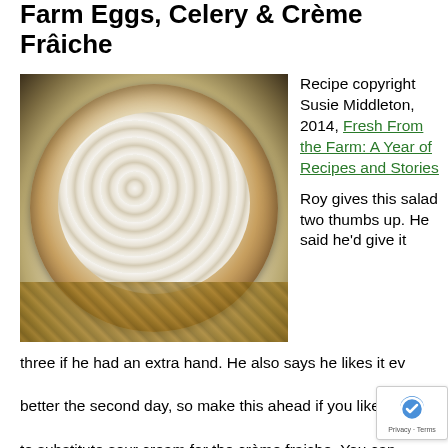Farm Eggs, Celery & Crème Frâiche
[Figure (photo): A bowl of egg salad with celery and crème fraîche, garnished with fresh herbs, sitting on a wicker surface]
Recipe copyright Susie Middleton, 2014, Fresh From the Farm: A Year of Recipes and Stories
Roy gives this salad two thumbs up. He said he'd give it three if he had an extra hand. He also says he likes it even better the second day, so make this ahead if you like. Feel free to substitute sour cream for the crème fraiche. You can loosen
[Figure (logo): reCAPTCHA badge with Privacy - Terms label]